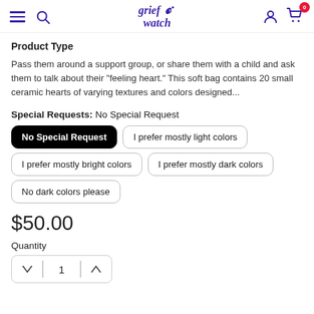grief watch [logo, navigation]
Product Type
Pass them around a support group, or share them with a child and ask them to talk about their "feeling heart." This soft bag contains 20 small ceramic hearts of varying textures and colors designed...
Special Requests:  No Special Request
No Special Request (selected)
I prefer mostly light colors
I prefer mostly bright colors
I prefer mostly dark colors
No dark colors please
$50.00
Quantity
1